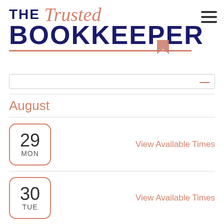[Figure (logo): The Trusted Bookkeeper logo with salmon/coral script 'Trusted' above bold dark navy 'THE BOOKKEEPER' text, with decorative underline and bookmark shape]
August
29 MON — View Available Times
30 TUE — View Available Times
31